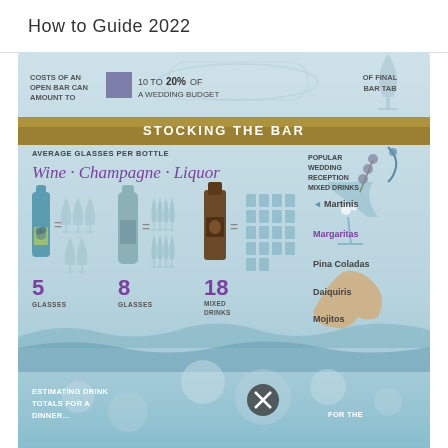How to Guide 2022
[Figure (infographic): Wedding bar infographic showing costs of open bar (10 to 20% of a wedding budget), stocking the bar section with average glasses per bottle for Wine (5 glasses), Champagne (8 glasses), and Liquor (18 mixed drinks), popular wedding reception mixed drinks (Martinis, Margaritas, Pina Coladas, Daiquiris, Mojitos), and estimating drink totals section at bottom.]